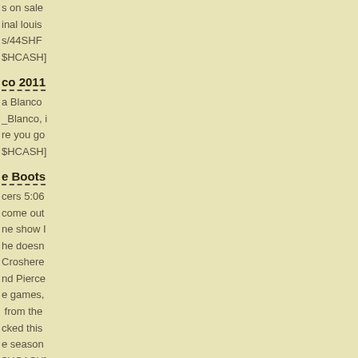s on sale
inal louis
s/44SHF
$HCASH]
co 2011
a Blanco
_Blanco, i
re you go
$HCASH]
e Boots
cers 5:06
come out
ne show I
he doesn
Croshere
nd Pierce
e games,
 from the
cked this
e season
$HCASH]